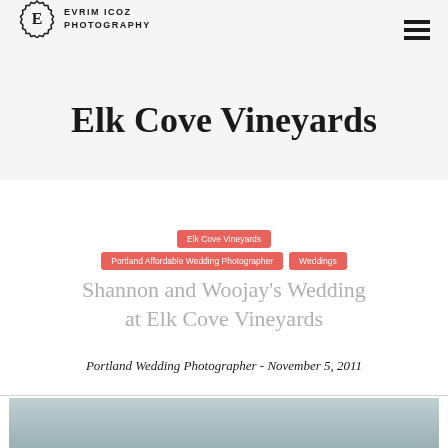EVRIM ICOZ PHOTOGRAPHY
Elk Cove Vineyards
Elk Cove Vineyards
Portland Affordable Wedding Photographer
Weddings
Shannon and Woojay's Wedding at Elk Cove Vineyards
Portland Wedding Photographer - November 5, 2011
[Figure (photo): Bottom strip showing a partial wedding photo]